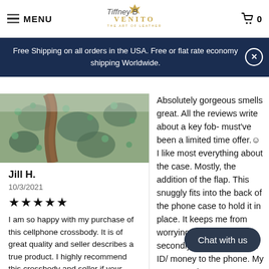MENU | VENITO | 0
Tiffney B
Free Shipping on all orders in the USA. Free or flat rate economy shipping Worldwide.
[Figure (photo): Close-up photo of a decorative leather/textile product with blue and green pattern]
Jill H.
10/3/2021
★★★★★
I am so happy with my purchase of this cellphone crossbody. It is of great quality and seller describes a true product. I highly recommend this crossbody and seller if your looking for a great cell-hone crossbody!
Absolutely gorgeous smells great. All the reviews write about a key fob- must've been a limited time offer.☺ I like most everything about the case. Mostly, the addition of the flap. This snuggly fits into the back of the phone case to hold it in place. It keeps me from worrying it will fall out- secondly, I can transfer an ID/ money to the phone. My case s and w present communication was
Chat with us